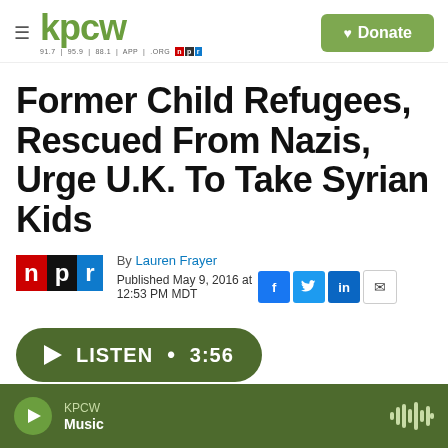kpcw | 91.7 | 95.9 | 88.1 | APP | .ORG | NPR | Donate
Former Child Refugees, Rescued From Nazis, Urge U.K. To Take Syrian Kids
By Lauren Frayer
Published May 9, 2016 at 12:53 PM MDT
LISTEN • 3:56
KPCW Music